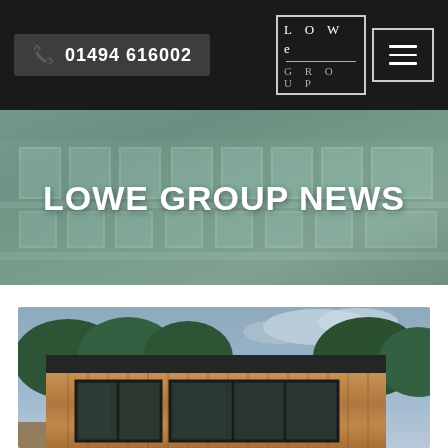📞 01494 616002 | LOWe GROUP
LOWE GROUP NEWS
[Figure (photo): Exterior photograph of a large Georgian-style building with white window surrounds and balustrades, tinted green/sage, with the heading 'LOWE GROUP NEWS' overlaid in white bold text]
[Figure (photo): Photograph of a modern garden room/studio with timber cladding, dark aluminium-framed floor-to-ceiling windows and sliding doors, flat dark roof, set among trees with a partly cloudy sky]